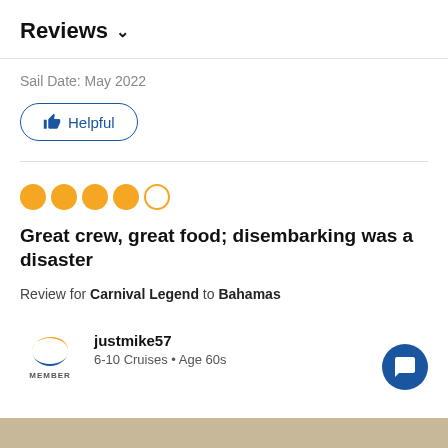Reviews ∨
Sail Date: May 2022
👍 Helpful
[Figure (other): 4 out of 5 orange filled circles rating]
Great crew, great food; disembarking was a disaster
Review for Carnival Legend to Bahamas
justmike57
6-10 Cruises • Age 60s